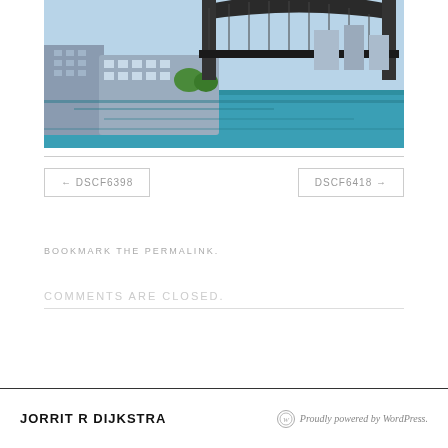[Figure (photo): Photograph of Sydney Harbour Bridge with waterfront buildings and blue water in the foreground]
← DSCF6398
DSCF6418 →
BOOKMARK THE PERMALINK.
COMMENTS ARE CLOSED.
JORRIT R DIJKSTRA   Proudly powered by WordPress.